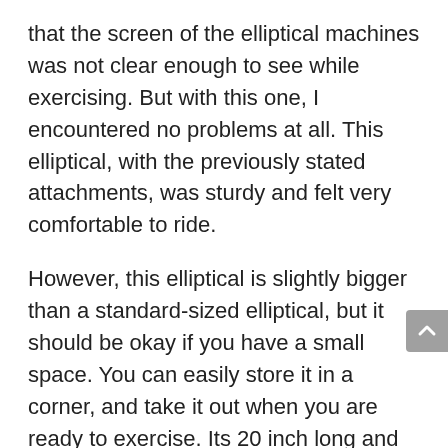that the screen of the elliptical machines was not clear enough to see while exercising. But with this one, I encountered no problems at all. This elliptical, with the previously stated attachments, was sturdy and felt very comfortable to ride.
However, this elliptical is slightly bigger than a standard-sized elliptical, but it should be okay if you have a small space. You can easily store it in a corner, and take it out when you are ready to exercise. Its 20 inch long and wide strides make it the most accurate simulation of running. On top of it, it does not make unpleasant sounds when you pedal!
The 29 free programs available are also very important for you to take a look at. Only a few brands offer such a variety of options to their consumers. These workout